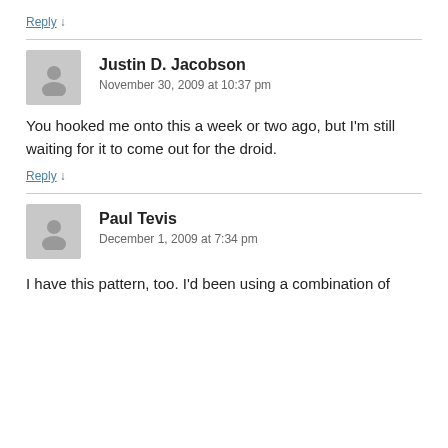Reply ↓
Justin D. Jacobson
November 30, 2009 at 10:37 pm
You hooked me onto this a week or two ago, but I'm still waiting for it to come out for the droid.
Reply ↓
Paul Tevis
December 1, 2009 at 7:34 pm
I have this pattern, too. I'd been using a combination of